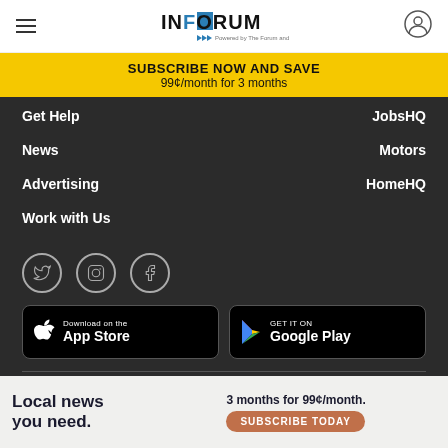INFORUM — Powered by The Forum and WDAY
SUBSCRIBE NOW AND SAVE
99¢/month for 3 months
Get Help
JobsHQ
News
Motors
Advertising
HomeHQ
Work with Us
[Figure (other): Social media icons: Twitter, Instagram, Facebook]
[Figure (other): Download on the App Store and GET IT ON Google Play buttons]
© 2022 INFORUM and Forum Communications Company | 101 5th St N, Fargo, ND 58102
Local news you need.  3 months for 99¢/month. SUBSCRIBE TODAY